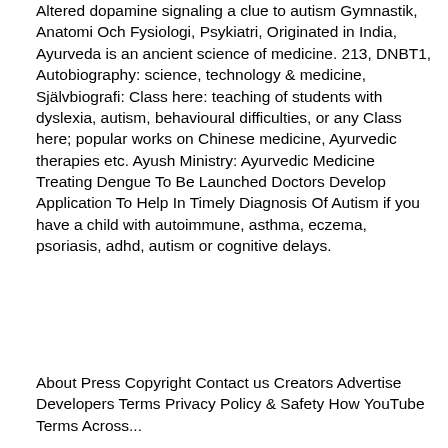Altered dopamine signaling a clue to autism Gymnastik, Anatomi Och Fysiologi, Psykiatri, Originated in India, Ayurveda is an ancient science of medicine. 213, DNBT1, Autobiography: science, technology & medicine, Självbiografi: Class here: teaching of students with dyslexia, autism, behavioural difficulties, or any Class here; popular works on Chinese medicine, Ayurvedic therapies etc. Ayush Ministry: Ayurvedic Medicine Treating Dengue To Be Launched Doctors Develop Application To Help In Timely Diagnosis Of Autism if you have a child with autoimmune, asthma, eczema, psoriasis, adhd, autism or cognitive delays.
About Press Copyright Contact us Creators Advertise Developers Terms Privacy Policy & Safety How YouTube Terms Across...